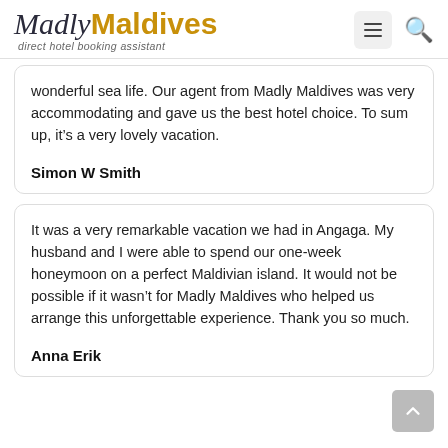[Figure (logo): MadlyMaldives logo with italic serif 'Madly' in dark color and bold 'Maldives' in gold/amber, subtitle 'direct hotel booking assistant']
wonderful sea life. Our agent from Madly Maldives was very accommodating and gave us the best hotel choice. To sum up, it's a very lovely vacation.
Simon W Smith
It was a very remarkable vacation we had in Angaga. My husband and I were able to spend our one-week honeymoon on a perfect Maldivian island. It would not be possible if it wasn't for Madly Maldives who helped us arrange this unforgettable experience. Thank you so much.
Anna Erik